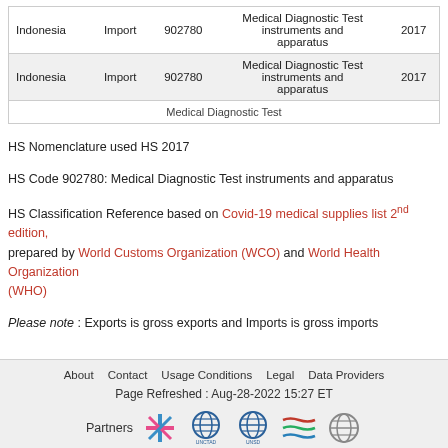| Country | Trade Flow | HS Code | Product | Year |
| --- | --- | --- | --- | --- |
| Indonesia | Import | 902780 | Medical Diagnostic Test instruments and apparatus | 2017 |
| Indonesia | Import | 902780 | Medical Diagnostic Test instruments and apparatus | 2017 |
|  |  |  | Medical Diagnostic Test |  |
HS Nomenclature used HS 2017
HS Code 902780: Medical Diagnostic Test instruments and apparatus
HS Classification Reference based on Covid-19 medical supplies list 2nd edition, prepared by World Customs Organization (WCO) and World Health Organization (WHO)
Please note : Exports is gross exports and Imports is gross imports
About   Contact   Usage Conditions   Legal   Data Providers
Page Refreshed : Aug-28-2022 15:27 ET
Partners [logos]